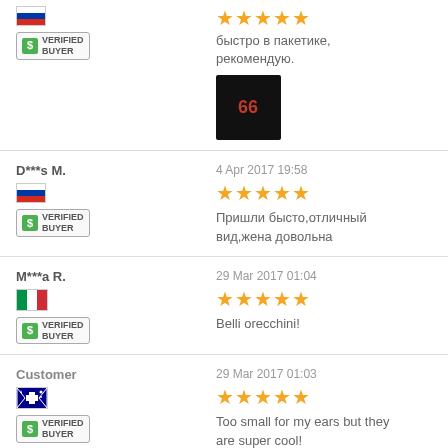быстро в пакетике, рекомендую.
[Figure (photo): Product photo showing earrings on dark background]
D***s M.
4 Apr 2017 19:58
Пришли бысто,отличный вид,жена довольна
M***a R.
29 Mar 2017 01:04
Belli orecchini!
Customer
29 Mar 2017 01:03
Too small for my ears but they are super cool!